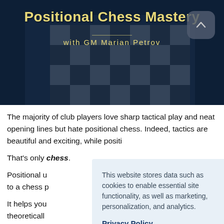[Figure (screenshot): Hero banner with dark chess board background, yellow title 'Positional Chess Mastery' with subtitle 'with GM Marian Petrov', and a scroll-up button]
The majority of club players love sharp tactical play and neat opening lines but hate positional chess. Indeed, tactics are beautiful and exciting, while positi
That's only [partially obscured] chess.
Positional u[nderstanding is essential] to a chess p[layer's development].
It helps you[...] theoreticall[...] opponent. If you feel stuck, positional
This website stores data such as cookies to enable essential site functionality, as well as marketing, personalization, and analytics.
Privacy Policy
ACCEPT
DENY